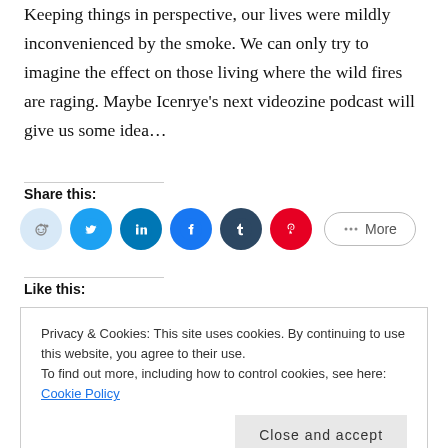Keeping things in perspective, our lives were mildly inconvenienced by the smoke. We can only try to imagine the effect on those living where the wild fires are raging. Maybe Icenrye's next videozine podcast will give us some idea…
Share this:
[Figure (other): Social share buttons: Reddit, Twitter, LinkedIn, Facebook, Tumblr, Pinterest, and a More button]
Like this:
Privacy & Cookies: This site uses cookies. By continuing to use this website, you agree to their use. To find out more, including how to control cookies, see here: Cookie Policy
Close and accept